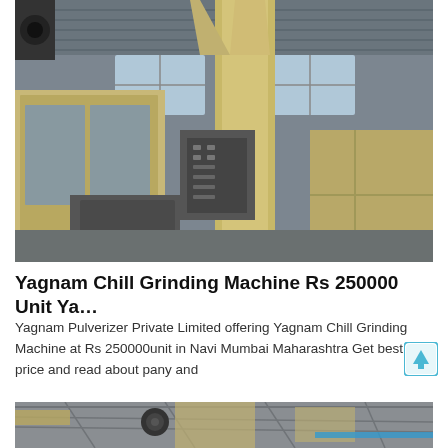[Figure (photo): Industrial factory interior showing large yellow/beige chill grinding machine equipment with vertical ducts, control panel, and metal enclosures on a concrete floor under a corrugated metal roof.]
Yagnam Chill Grinding Machine Rs 250000 Unit Ya…
Yagnam Pulverizer Private Limited offering Yagnam Chill Grinding Machine at Rs 250000unit in Navi Mumbai Maharashtra Get best price and read about pany and
[Figure (photo): Partial view of industrial machinery from below, showing metal framework, pulleys, and pipes in a factory setting.]